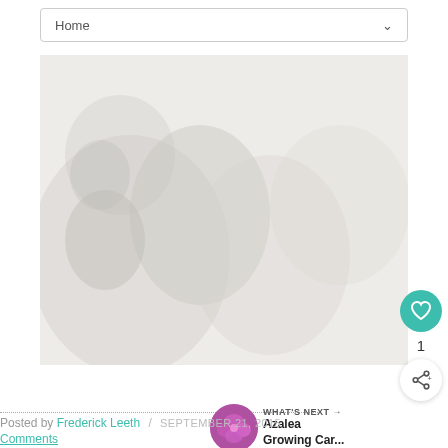Home
[Figure (photo): Faded/loading photo of plants or garden scene]
[Figure (illustration): Teal circular like button with heart icon, count '1', and share button]
[Figure (photo): Small circular thumbnail of pink azalea flowers]
WHAT'S NEXT → Azalea Growing Car...
Posted by Frederick Leeth / SEPTEMBER 21, 2015
Comments